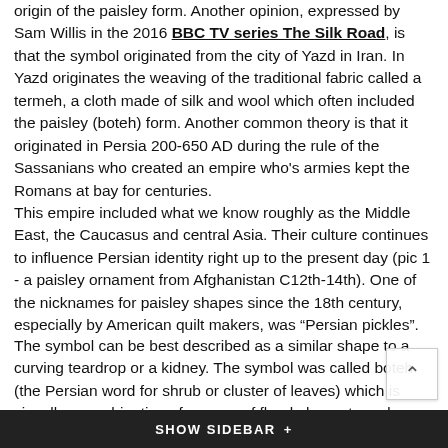origin of the paisley form. Another opinion, expressed by Sam Willis in the 2016 BBC TV series The Silk Road, is that the symbol originated from the city of Yazd in Iran. In Yazd originates the weaving of the traditional fabric called a termeh, a cloth made of silk and wool which often included the paisley (boteh) form. Another common theory is that it originated in Persia 200-650 AD during the rule of the Sassanians who created an empire who's armies kept the Romans at bay for centuries.
This empire included what we know roughly as the Middle East, the Caucasus and central Asia. Their culture continues to influence Persian identity right up to the present day (pic 1 - a paisley ornament from Afghanistan C12th-14th). One of the nicknames for paisley shapes since the 18th century, especially by American quilt makers, was “Persian pickles”.
The symbol can be best described as a similar shape to a curving teardrop or a kidney. The symbol was called boteh (the Persian word for shrub or cluster of leaves) which is visually a combination of a spray of floral elements and a cypress tree. Centuries later the shape was called Buta almond or bud - the national symbol of Azerbaijan to this day. It could also be an adaptation of the yin-yang symbol used in ancient Chinese medicine and philosophy.
SHOW SIDEBAR +